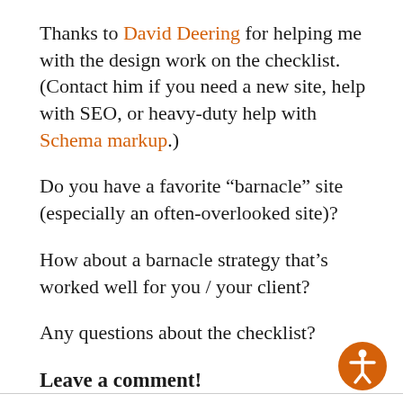Thanks to David Deering for helping me with the design work on the checklist.  (Contact him if you need a new site, help with SEO, or heavy-duty help with Schema markup.)
Do you have a favorite “barnacle” site (especially an often-overlooked site)?
How about a barnacle strategy that’s worked well for you / your client?
Any questions about the checklist?
Leave a comment!